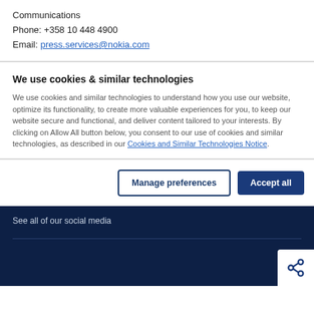Communications
Phone:  +358 10 448 4900
Email:  press.services@nokia.com
We use cookies & similar technologies
We use cookies and similar technologies to understand how you use our website, optimize its functionality, to create more valuable experiences for you, to keep our website secure and functional, and deliver content tailored to your interests. By clicking on Allow All button below, you consent to our use of cookies and similar technologies, as described in our Cookies and Similar Technologies Notice.
Manage preferences
Accept all
See all of our social media